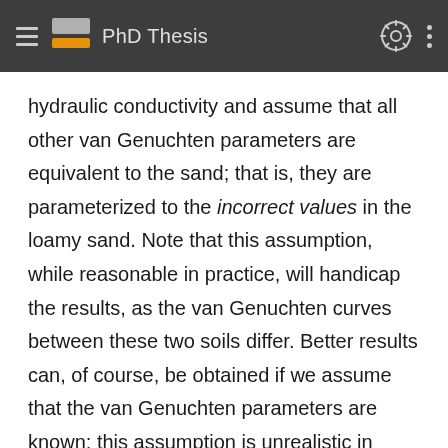PhD Thesis
hydraulic conductivity and assume that all other van Genuchten parameters are equivalent to the sand; that is, they are parameterized to the incorrect values in the loamy sand. Note that this assumption, while reasonable in practice, will handicap the results, as the van Genuchten curves between these two soils differ. Better results can, of course, be obtained if we assume that the van Genuchten parameters are known; this assumption is unrealistic in practice, which means that we will not be able to recreate the data exactly. However, the distribution of saturated hydraulic conductivity may lead to